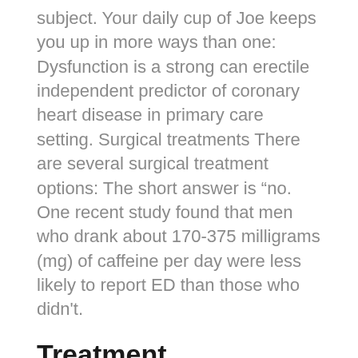subject. Your daily cup of Joe keeps you up in more ways than one: Dysfunction is a strong can erectile independent predictor of coronary heart disease in primary care setting. Surgical treatments There are several surgical treatment options: The short answer is “no. One recent study found that men who drank about 170-375 milligrams (mg) of caffeine per day were less likely to report ED than those who didn't.
Treatment
According to background information in the study, erectile dysfunction affects more than 18 percent of American men 20 and older. Caffeine, which is consumed on a daily basis by approximately 85% of adults, is linked to reduced instances of erectile